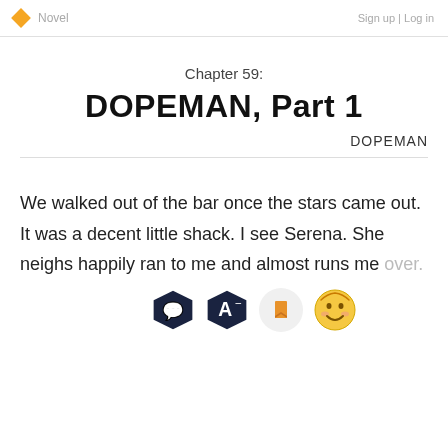Novel  Sign up | Log in
Chapter 59:
DOPEMAN, Part 1
DOPEMAN
We walked out of the bar once the stars came out. It was a decent little shack. I see Serena. She neighs happily ran to me and almost runs me over.
[Figure (screenshot): Toolbar with four icon buttons: chat bubble hexagon, font-size hexagon, bookmark circle, and smiley emoji]